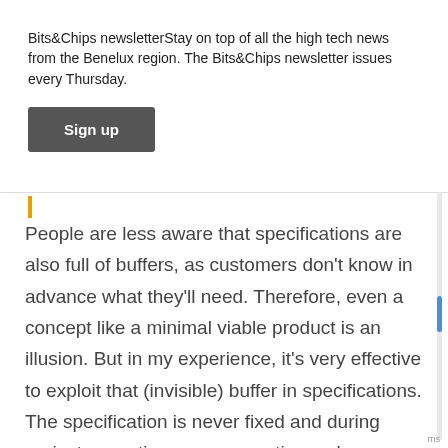Bits&Chips newsletterStay on top of all the high tech news from the Benelux region. The Bits&Chips newsletter issues every Thursday.
Sign up
People are less aware that specifications are also full of buffers, as customers don't know in advance what they'll need. Therefore, even a concept like a minimal viable product is an illusion. But in my experience, it's very effective to exploit that (invisible) buffer in specifications. The specification is never fixed and during project execution, we can continuously negotiate it. And you'll notice that when the customer approaches his deadline, he'll